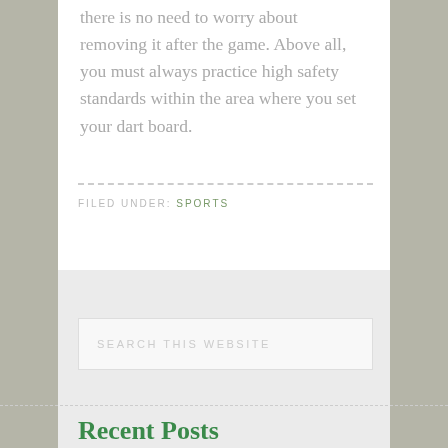there is no need to worry about removing it after the game. Above all, you must always practice high safety standards within the area where you set your dart board.
FILED UNDER: SPORTS
SEARCH THIS WEBSITE
Recent Posts
How To Choose The Best Night Vision